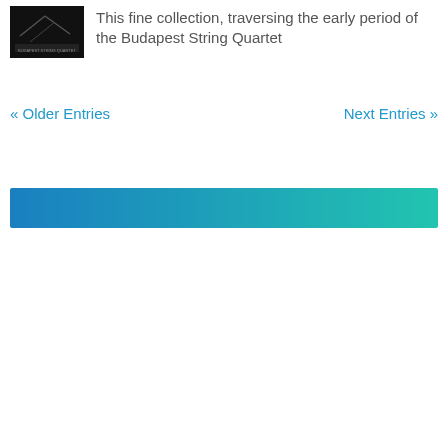[Figure (photo): Small dark album cover image showing the Budapest String Quartet]
This fine collection, traversing the early period of the Budapest String Quartet
« Older Entries    Next Entries »
[Figure (other): Horizontal banner with blue to teal gradient]